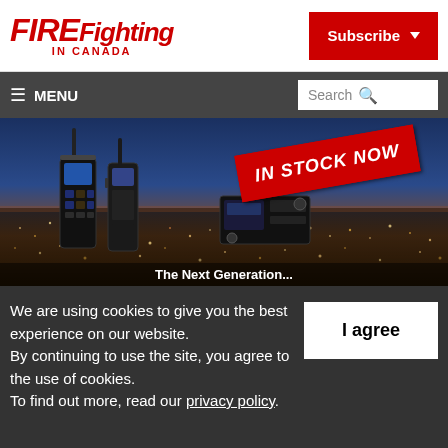FIREFighting IN CANADA
Subscribe
≡ MENU | Search
[Figure (photo): Advertisement showing two handheld radios and a mobile radio unit against a city skyline at dusk, with a red 'IN STOCK NOW' stamp overlay. Partial text at bottom reads 'The Next Generation']
We are using cookies to give you the best experience on our website.
By continuing to use the site, you agree to the use of cookies.
To find out more, read our privacy policy.
I agree